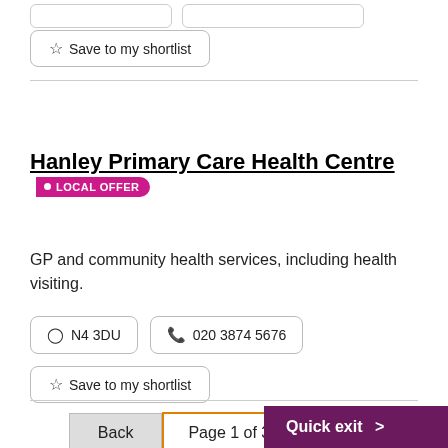Save to my shortlist
Hanley Primary Care Health Centre • LOCAL OFFER
GP and community health services, including health visiting.
N4 3DU
020 3874 5676
Save to my shortlist
Back | Page 1 of 3 | Next | Quick exit >